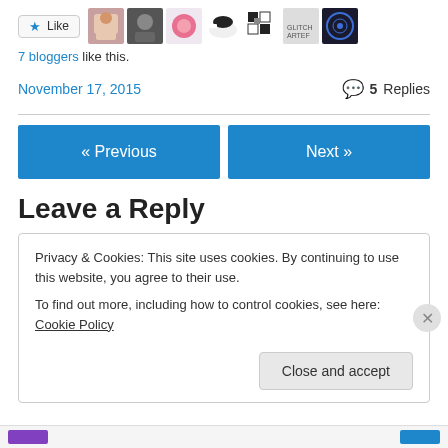[Figure (other): Like button with star icon and a row of 7 blogger avatar thumbnails]
7 bloggers like this.
November 17, 2015    💬 5 Replies
[Figure (other): Navigation buttons: « Previous and Next »]
Leave a Reply
Privacy & Cookies: This site uses cookies. By continuing to use this website, you agree to their use.
To find out more, including how to control cookies, see here: Cookie Policy
[Figure (other): Close and accept button]